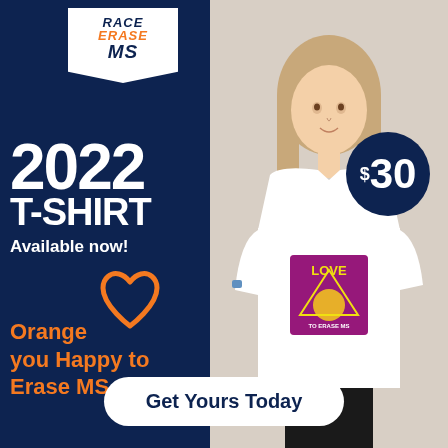[Figure (logo): Race Erase MS logo on white pennant banner]
2022 T-SHIRT
Available now!
[Figure (illustration): Orange heart outline illustration]
Orange you Happy to Erase MS
[Figure (photo): Young woman wearing white Race to Erase MS 2022 t-shirt with LOVE graphic, standing against brick wall]
$30
Get Yours Today